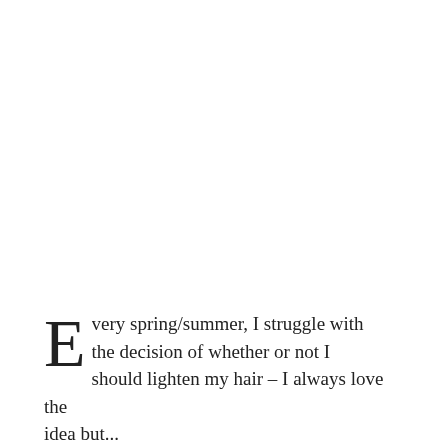Every spring/summer, I struggle with the decision of whether or not I should lighten my hair – I always love the idea but...